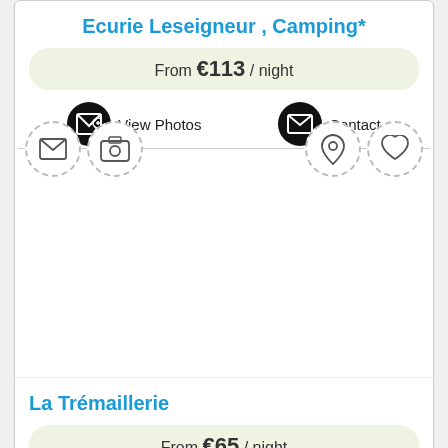Ecurie Leseigneur , Camping*
From €113 / night
View Photos  Contact
[Figure (screenshot): Second accommodation listing card with dashed circle icons at top (envelope, camera, location pin, heart), large white image area, title La Trémaillerie, price From €65 / night, and View Photos / Contact buttons]
La Trémaillerie
From €65 / night
View Photos  Contact